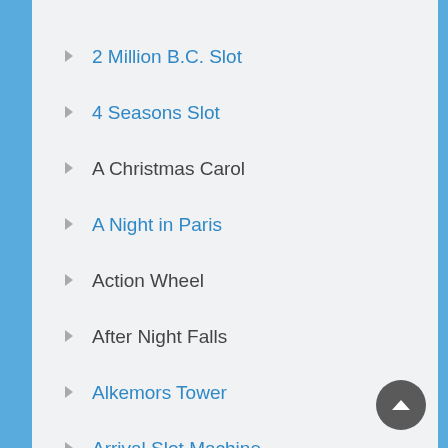2 Million B.C. Slot
4 Seasons Slot
A Christmas Carol
A Night in Paris
Action Wheel
After Night Falls
Alkemors Tower
Arrival Slot Machine
At the Copa Slot
At the Movies Slot
Aztec Treasure Slot
Back in Time
Barbary Coast
Birds!